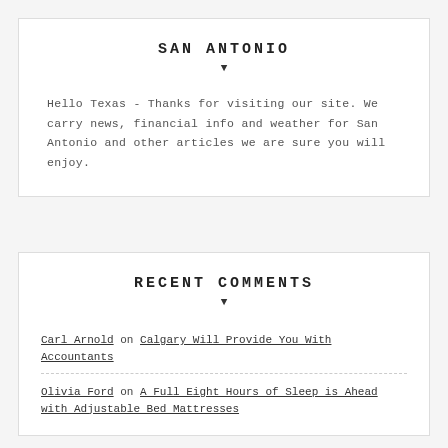SAN ANTONIO
Hello Texas - Thanks for visiting our site. We carry news, financial info and weather for San Antonio and other articles we are sure you will enjoy.
RECENT COMMENTS
Carl Arnold on Calgary Will Provide You With Accountants
Olivia Ford on A Full Eight Hours of Sleep is Ahead with Adjustable Bed Mattresses